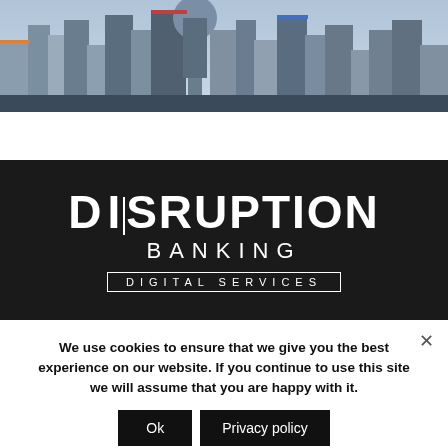[Figure (photo): Aerial/skyline view of a futuristic city with skyscrapers and landmarks, rendered in a colorful illustrated style against a grey sky.]
[Figure (logo): Disruption Banking Digital Services logo — large bold white text 'DISRUPTION' on top, 'BANKING' below in spaced capitals, and 'DIGITAL SERVICES' in a white outlined rectangle, all on a dark/black background.]
We use cookies to ensure that we give you the best experience on our website. If you continue to use this site we will assume that you are happy with it.
Ok
Privacy policy